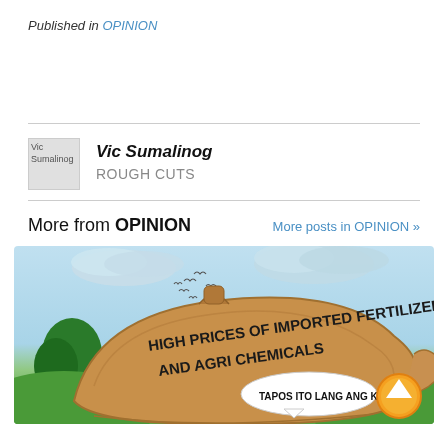Published in OPINION
Vic Sumalinog
Vic Sumalinog
ROUGH CUTS
More from OPINION
More posts in OPINION »
[Figure (illustration): Editorial cartoon showing a large sack labeled 'HIGH PRICES OF IMPORTED FERTILIZERS AND AGRI CHEMICALS' with a speech bubble saying 'TAPOS ITO LANG ANG KITA?' and an orange arrow circle button. Background shows trees, green hills, cloudy sky and birds.]